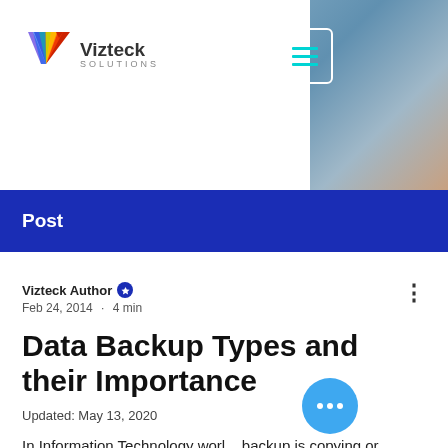[Figure (screenshot): Vizteck Solutions website header with logo, hamburger menu button, and blurred background photo of a person at a computer]
Post
Vizteck Author · Feb 24, 2014 · 4 min
Data Backup Types and their Importance
Updated: May 13, 2020
In Information Technology world, backup is copying or archiving data to secondary locations. This